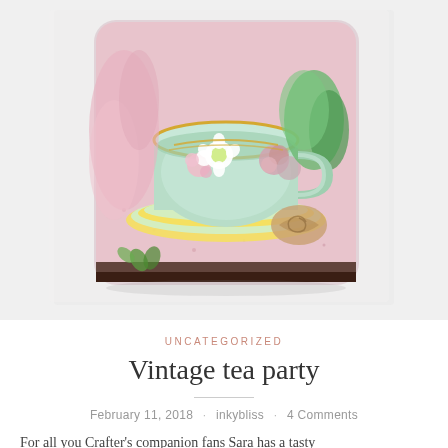[Figure (photo): A decorative coaster featuring a vintage-style teacup with floral decorations in pastel colors — pink, mint green, yellow, and white flowers. The square coaster has rounded corners and a pink speckled surface with a dark brown edge.]
UNCATEGORIZED
Vintage tea party
February 11, 2018 · inkybliss · 4 Comments
For all you Crafter's companion fans Sara has a tasty treat for you when you enter our blog hop today.